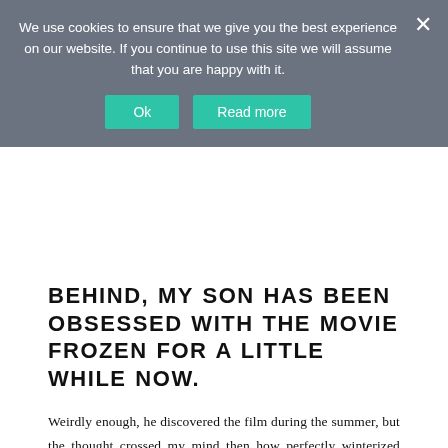We use cookies to ensure that we give you the best experience on our website. If you continue to use this site we will assume that you are happy with it.
BEHIND, MY SON HAS BEEN OBSESSED WITH THE MOVIE FROZEN FOR A LITTLE WHILE NOW.
Weirdly enough, he discovered the film during the summer, but the thought crossed my mind then how perfectly winterized cupcakes would fit in with the rest of my designs.
NOW THAT THE RUSH OF THE HOLIDAYS HAS ENDED, I HAVE HAD A LITTLE TIME TO BE ABLE TO